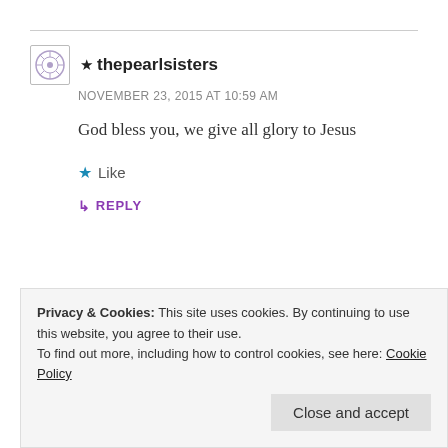★ thepearlsisters
NOVEMBER 23, 2015 AT 10:59 AM
God bless you, we give all glory to Jesus
★ Like
↳ REPLY
[Figure (other): Advertisement banner for 'podcast lovers.' with logo imagery]
Privacy & Cookies: This site uses cookies. By continuing to use this website, you agree to their use.
To find out more, including how to control cookies, see here: Cookie Policy
Close and accept
have experienced pruning in relationships and having